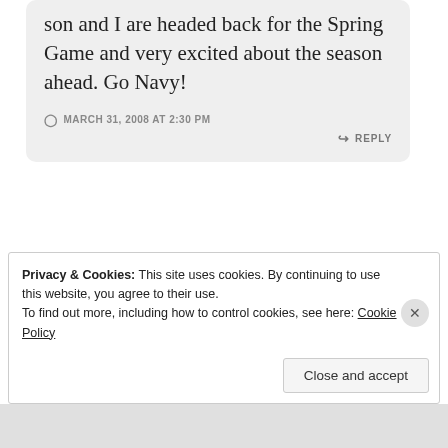son and I are headed back for the Spring Game and very excited about the season ahead. Go Navy!
MARCH 31, 2008 AT 2:30 PM
REPLY
[Figure (screenshot): Advertisement banner: dark navy background with person icon, teal text reading 'Turn your blog into a money-making online course.' with arrow]
REPORT THIS AD
Privacy & Cookies: This site uses cookies. By continuing to use this website, you agree to their use.
To find out more, including how to control cookies, see here: Cookie Policy
Close and accept